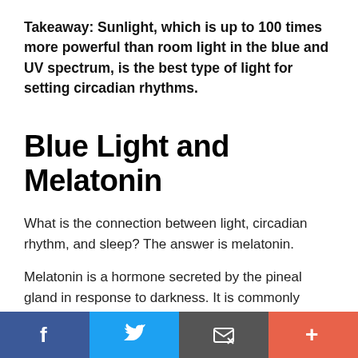Takeaway: Sunlight, which is up to 100 times more powerful than room light in the blue and UV spectrum, is the best type of light for setting circadian rhythms.
Blue Light and Melatonin
What is the connection between light, circadian rhythm, and sleep? The answer is melatonin.
Melatonin is a hormone secreted by the pineal gland in response to darkness. It is commonly referred to as "the sleep hormone," but it also plays a vital role in controlling inflammation levels